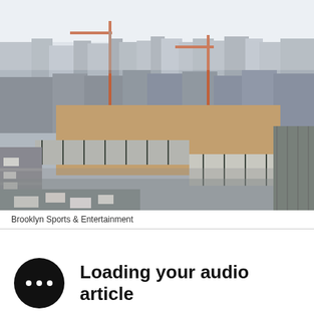[Figure (photo): Aerial view of Brooklyn construction site showing the Barclays Center arena under construction, with cranes, steel framework, and surrounding urban cityscape visible. Roads and traffic are visible in the foreground.]
Brooklyn Sports & Entertainment
Loading your audio article